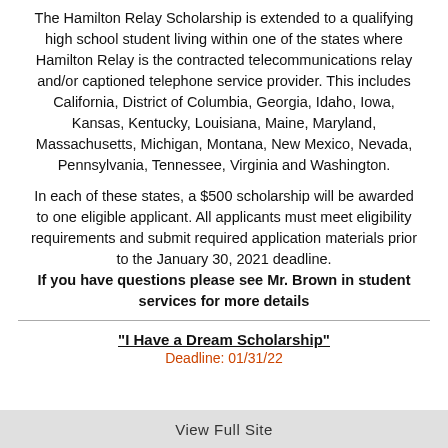The Hamilton Relay Scholarship is extended to a qualifying high school student living within one of the states where Hamilton Relay is the contracted telecommunications relay and/or captioned telephone service provider. This includes California, District of Columbia, Georgia, Idaho, Iowa, Kansas, Kentucky, Louisiana, Maine, Maryland, Massachusetts, Michigan, Montana, New Mexico, Nevada, Pennsylvania, Tennessee, Virginia and Washington.
In each of these states, a $500 scholarship will be awarded to one eligible applicant. All applicants must meet eligibility requirements and submit required application materials prior to the January 30, 2021 deadline. If you have questions please see Mr. Brown in student services for more details
"I Have a Dream Scholarship"
Deadline: 01/31/22
View Full Site